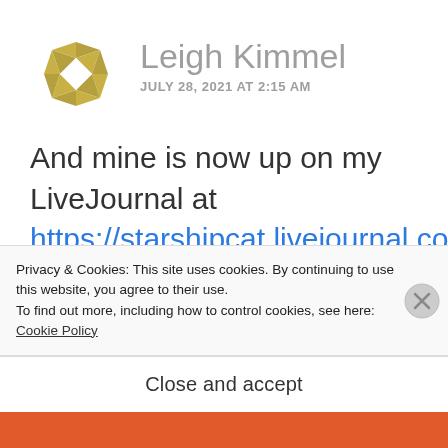[Figure (logo): Circular geometric logo made of golden/olive colored triangular segments forming a square ring shape]
Leigh Kimmel
JULY 28, 2021 AT 2:15 AM
And mine is now up on my LiveJournal at https://starshipcat.livejournal.com/994424.html. The idea is cool, but my mind isn't
Privacy & Cookies: This site uses cookies. By continuing to use this website, you agree to their use.
To find out more, including how to control cookies, see here:
Cookie Policy
Close and accept